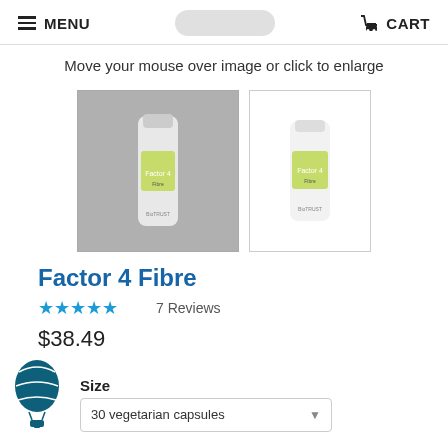MENU  CART
Move your mouse over image or click to enlarge
[Figure (photo): Two product photos of Factor 4 Fibre supplement bottle — left image shown on gray background (selected/active), right image on white background]
Factor 4 Fibre
★★★★★ 7 Reviews
$38.49
[Figure (logo): Hot air balloon icon in dark teal/navy color]
Size
30 vegetarian capsules